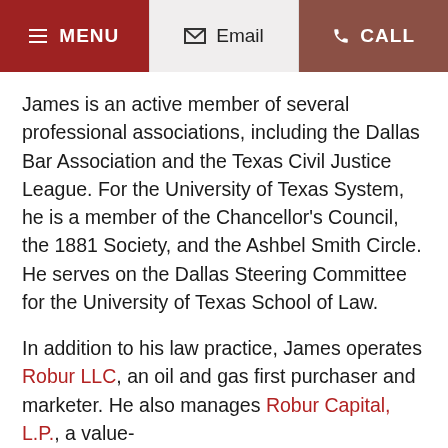≡ MENU  ✉ Email  ☎ CALL
James is an active member of several professional associations, including the Dallas Bar Association and the Texas Civil Justice League. For the University of Texas System, he is a member of the Chancellor's Council, the 1881 Society, and the Ashbel Smith Circle. He serves on the Dallas Steering Committee for the University of Texas School of Law.
In addition to his law practice, James operates Robur LLC, an oil and gas first purchaser and marketer. He also manages Robur Capital, L.P., a value-